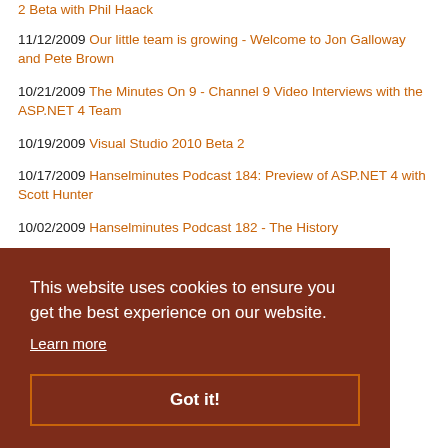2 Beta with Phil Haack
11/12/2009 Our little team is growing - Welcome to Jon Galloway and Pete Brown
10/21/2009 The Minutes On 9 - Channel 9 Video Interviews with the ASP.NET 4 Team
10/19/2009 Visual Studio 2010 Beta 2
10/17/2009 Hanselminutes Podcast 184: Preview of ASP.NET 4 with Scott Hunter
10/02/2009 Hanselminutes Podcast 182 - The History ...g
This website uses cookies to ensure you get the best experience on our website. Learn more Got it!
...ing
for Visual Studio 2010 Beta 1